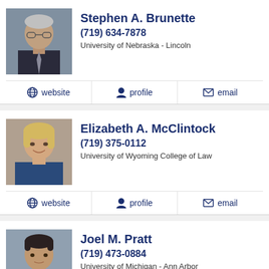[Figure (photo): Headshot of Stephen A. Brunette, older male with gray hair, glasses, dark suit]
Stephen A. Brunette
(719) 634-7878
University of Nebraska - Lincoln
website | profile | email
[Figure (photo): Headshot of Elizabeth A. McClintock, woman with blonde hair, smiling]
Elizabeth A. McClintock
(719) 375-0112
University of Wyoming College of Law
website | profile | email
[Figure (photo): Headshot of Joel M. Pratt, younger male with dark hair, suit and tie]
Joel M. Pratt
(719) 473-0884
University of Michigan - Ann Arbor
website | profile | email